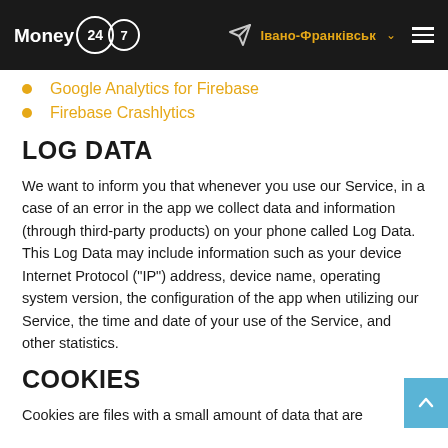Money 24/7 | Івано-Франківськ
Google Analytics for Firebase
Firebase Crashlytics
LOG DATA
We want to inform you that whenever you use our Service, in a case of an error in the app we collect data and information (through third-party products) on your phone called Log Data. This Log Data may include information such as your device Internet Protocol ("IP") address, device name, operating system version, the configuration of the app when utilizing our Service, the time and date of your use of the Service, and other statistics.
COOKIES
Cookies are files with a small amount of data that are